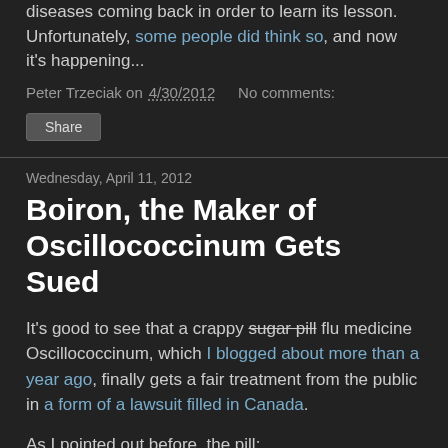diseases coming back in order to learn its lesson. Unfortunately, some people did think so, and now it's happening...
Peter Trzeciak on 4/30/2012   No comments:
Share
Wednesday, April 11, 2012
Boiron, the Maker of Oscillococcinum Gets Sued
It's good to see that a crappy sugar pill flu medicine Oscillococcinum, which I blogged about more than a year ago, finally gets a fair treatment from the public in a form of a lawsuit filled in Canada.
As I pointed out before, the pill:
Each 0.04 oz. dose (1 g) of Oscillo contains 1 g...